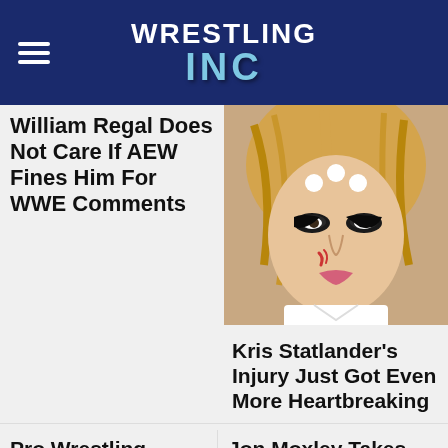Wrestling Inc
William Regal Does Not Care If AEW Fines Him For WWE Comments
[Figure (photo): Close-up photo of Kris Statlander with face paint including white dots on forehead, dramatic eye makeup, and a scratch mark on her cheek]
Kris Statlander's Injury Just Got Even More Heartbreaking
Pro Wrestling Couples With Uncomfortable Age Gaps
Jon Moxley Takes Verbal Shots At WWE And Vince McMahon